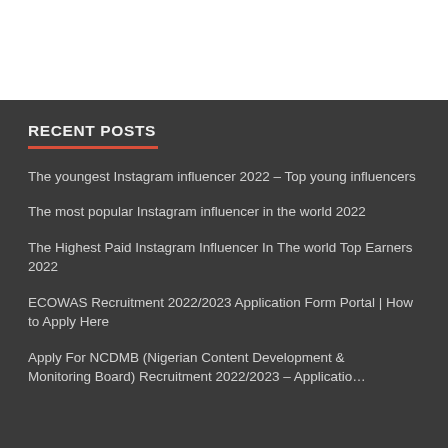RECENT POSTS
The youngest Instagram influencer 2022 – Top young influencers
The most popular Instagram influencer in the world 2022
The Highest Paid Instagram Influencer In The world Top Earners 2022
ECOWAS Recruitment 2022/2023 Application Form Portal | How to Apply Here
Apply For NCDMB (Nigerian Content Development & Monitoring Board) Recruitment 2022/2023 – Application...